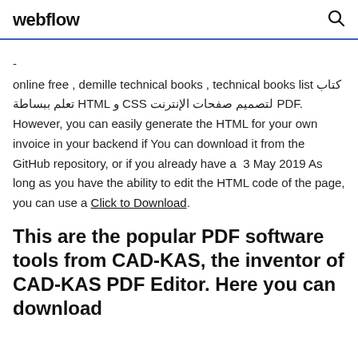webflow
- online free , demille technical books , technical books list كتاب تعلم ببساطة HTML و CSS لتصميم صفحات الإنترنت PDF. However, you can easily generate the HTML for your own invoice in your backend if You can download it from the GitHub repository, or if you already have a  3 May 2019 As long as you have the ability to edit the HTML code of the page, you can use a Click to Download.
This are the popular PDF software tools from CAD-KAS, the inventor of CAD-KAS PDF Editor. Here you can download